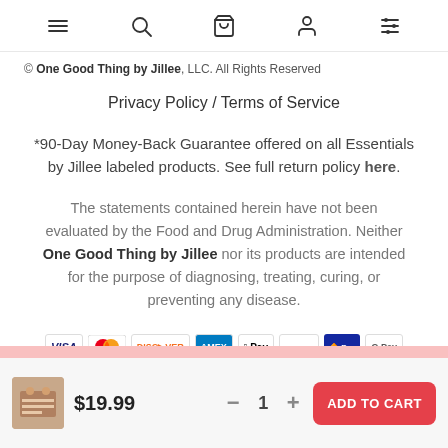Navigation bar with menu, search, bag, account, and filter icons
© One Good Thing by Jillee, LLC. All Rights Reserved
Privacy Policy / Terms of Service
*90-Day Money-Back Guarantee offered on all Essentials by Jillee labeled products. See full return policy here.
The statements contained herein have not been evaluated by the Food and Drug Administration. Neither One Good Thing by Jillee nor its products are intended for the purpose of diagnosing, treating, curing, or preventing any disease.
[Figure (infographic): Payment method icons: Visa, Mastercard, Discover, American Express, Apple Pay, Amazon Pay, Samsung Pay, Google Pay]
$19.99  −  1  +  ADD TO CART